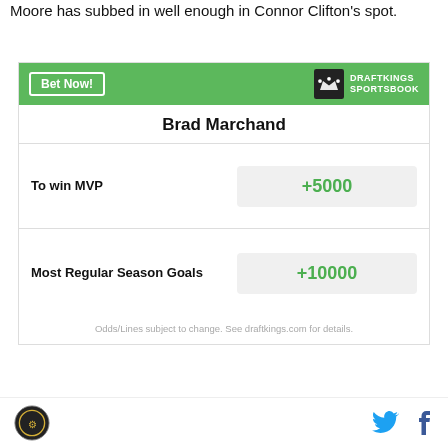Moore has subbed in well enough in Connor Clifton's spot.
[Figure (other): DraftKings Sportsbook betting widget for Brad Marchand showing odds: To win MVP +5000, Most Regular Season Goals +10000. Includes Bet Now button and DraftKings Sportsbook logo. Disclaimer: Odds/Lines subject to change. See draftkings.com for details.]